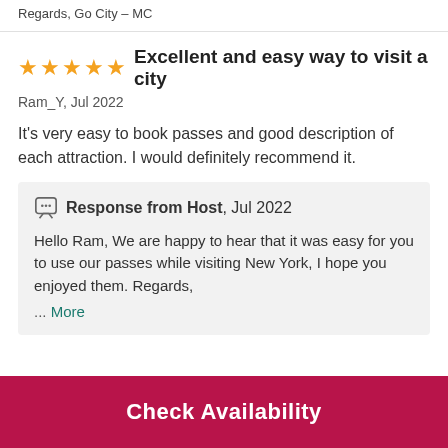Regards, Go City – MC
Excellent and easy way to visit a city
Ram_Y, Jul 2022
It's very easy to book passes and good description of each attraction. I would definitely recommend it.
Response from Host, Jul 2022
Hello Ram, We are happy to hear that it was easy for you to use our passes while visiting New York, I hope you enjoyed them. Regards, ... More
Check Availability